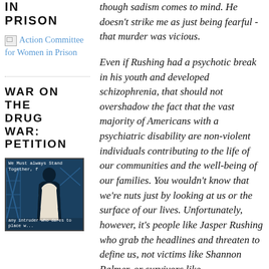IN PRISON
[Figure (illustration): Broken image placeholder with link text: Action Committee for Women in Prison]
WAR ON THE DRUG WAR: PETITION
[Figure (illustration): Dark blue/teal poster image with a silhouette figure and text 'We Must always Stand Together, f...' at top and 'any intruder who dares to place w...' at bottom]
though sadism comes to mind. He doesn't strike me as just being fearful - that murder was vicious.
Even if Rushing had a psychotic break in his youth and developed schizophrenia, that should not overshadow the fact that the vast majority of Americans with a psychiatric disability are non-violent individuals contributing to the life of our communities and the well-being of our families. You wouldn't know that we're nuts just by looking at us or the surface of our lives. Unfortunately, however, it's people like Jasper Rushing who grab the headlines and threaten to define us, not victims like Shannon Palmer, or survivors like... or Gabby... and in the face of those...